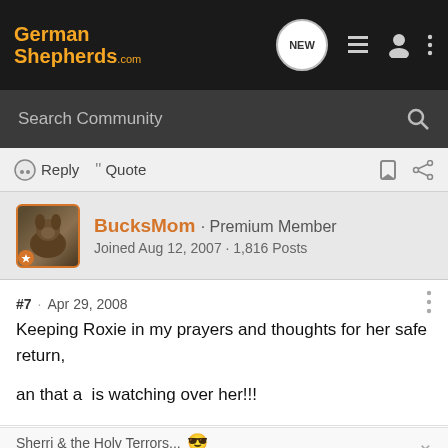[Figure (screenshot): GermanShepherds.com website navigation bar with logo, NEW chat badge, list icon, user icon, and three-dot menu icon on dark background]
Search Community
Reply  Quote
BucksMom · Premium Member
Joined Aug 12, 2007 · 1,816 Posts
#7 · Apr 29, 2008
Keeping Roxie in my prayers and thoughts for her safe return,

an that a  is watching over her!!!
Sherri & the Holy Terrors... 😎
"In a perfect world, every dog would have a home and every